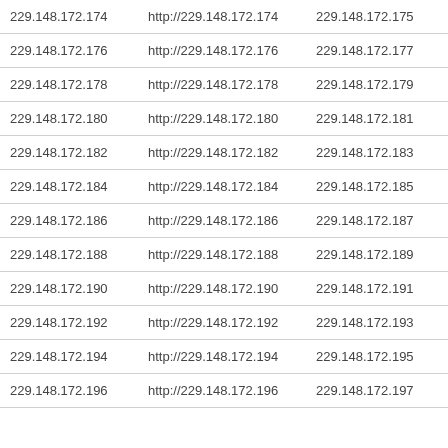| 229.148.172.174 | http://229.148.172.174 | 229.148.172.175 | ht |
| 229.148.172.176 | http://229.148.172.176 | 229.148.172.177 | ht |
| 229.148.172.178 | http://229.148.172.178 | 229.148.172.179 | ht |
| 229.148.172.180 | http://229.148.172.180 | 229.148.172.181 | ht |
| 229.148.172.182 | http://229.148.172.182 | 229.148.172.183 | ht |
| 229.148.172.184 | http://229.148.172.184 | 229.148.172.185 | ht |
| 229.148.172.186 | http://229.148.172.186 | 229.148.172.187 | ht |
| 229.148.172.188 | http://229.148.172.188 | 229.148.172.189 | ht |
| 229.148.172.190 | http://229.148.172.190 | 229.148.172.191 | ht |
| 229.148.172.192 | http://229.148.172.192 | 229.148.172.193 | ht |
| 229.148.172.194 | http://229.148.172.194 | 229.148.172.195 | ht |
| 229.148.172.196 | http://229.148.172.196 | 229.148.172.197 | ht |